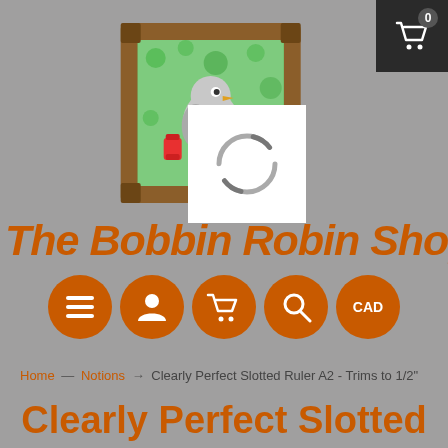[Figure (logo): The Bobbin Robin Shop logo: a cartoon bird on colorful background in a wooden picture frame, with a loading spinner overlay (white square with circular spinner arc symbol)]
[Figure (other): Shopping cart icon with badge showing 0, dark background, top right corner]
The Bobbin Robin Sho
[Figure (other): Navigation buttons row: hamburger menu, person/account, shopping cart, search magnifier, CAD currency selector — all orange circles with white icons]
Home → Notions → Clearly Perfect Slotted Ruler A2 - Trims to 1/2"
Clearly Perfect Slotted